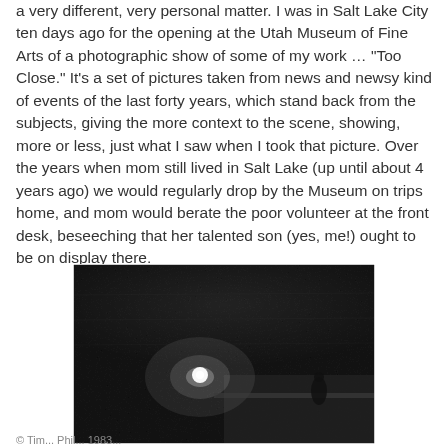a very different, very personal matter. I was in Salt Lake City ten days ago for the opening at the Utah Museum of Fine Arts of a photographic show of some of my work … "Too Close." It's a set of pictures taken from news and newsy kind of events of the last forty years, which stand back from the subjects, giving the more context to the scene, showing, more or less, just what I saw when I took that picture. Over the years when mom still lived in Salt Lake (up until about 4 years ago) we would regularly drop by the Museum on trips home, and mom would berate the poor volunteer at the front desk, beseeching that her talented son (yes, me!) ought to be on display there.
[Figure (photo): Black and white photograph of a large concert crowd viewed from above/behind the stage, with a bright spotlight shining from the stage area into the packed audience.]
© Tim... Phil... 1983...